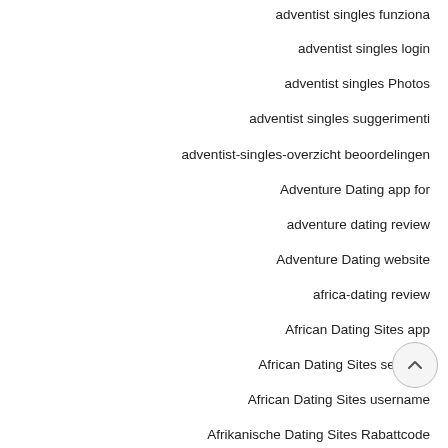adventist singles funziona
adventist singles login
adventist singles Photos
adventist singles suggerimenti
adventist-singles-overzicht beoordelingen
Adventure Dating app for
adventure dating review
Adventure Dating website
africa-dating review
African Dating Sites app
African Dating Sites services
African Dating Sites username
Afrikanische Dating Sites Rabattcode